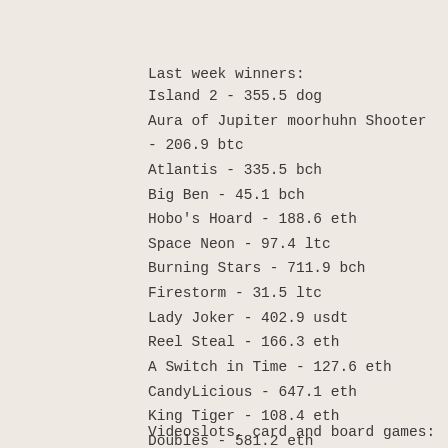Last week winners:
Island 2 - 355.5 dog
Aura of Jupiter moorhuhn Shooter - 206.9 btc
Atlantis - 335.5 bch
Big Ben - 45.1 bch
Hobo's Hoard - 188.6 eth
Space Neon - 97.4 ltc
Burning Stars - 711.9 bch
Firestorm - 31.5 ltc
Lady Joker - 402.9 usdt
Reel Steal - 166.3 eth
A Switch in Time - 127.6 eth
CandyLicious - 647.1 eth
King Tiger - 108.4 eth
Doubles - 581.2 eth
Star Jewels - 713.1 usdt
Videoslots, card and board games: